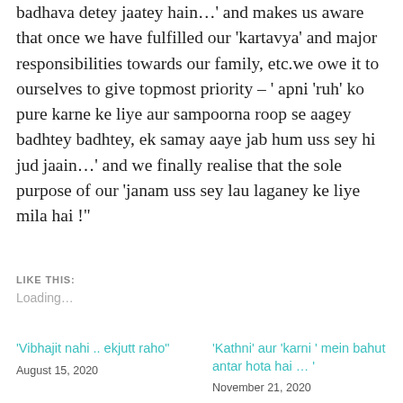badhava detey jaatey hain…' and makes us aware that once we have fulfilled our 'kartavya' and major responsibilities towards our family, etc.we owe it to ourselves to give topmost priority – ' apni 'ruh' ko pure karne ke liye aur sampoorna roop se aagey badhtey badhtey, ek samay aaye jab hum uss sey hi jud jaain…' and we finally realise that the sole purpose of our 'janam uss sey lau laganey ke liye mila hai !"
LIKE THIS:
Loading...
'Vibhajit nahi .. ekjutt raho"
August 15, 2020
'Kathni' aur 'karni ' mein bahut antar hota hai … '
November 21, 2020